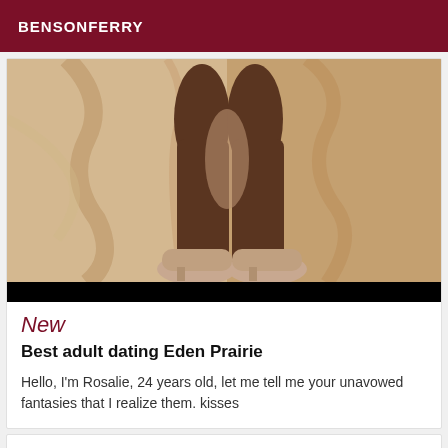BENSONFERRY
[Figure (photo): Close-up photo of legs/feet wearing beige heels on a marble floor surface, with a black bar at the bottom]
New
Best adult dating Eden Prairie
Hello, I'm Rosalie, 24 years old, let me tell me your unavowed fantasies that I realize them. kisses